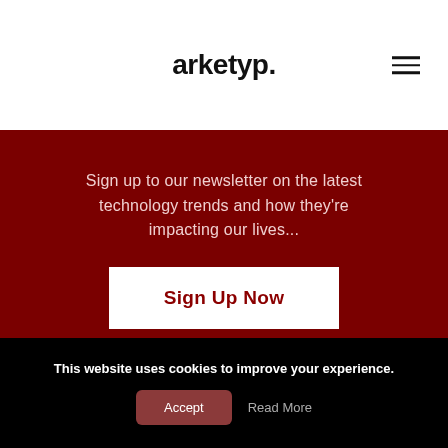arketyp.
Sign up to our newsletter on the latest technology trends and how they’re impacting our lives...
Sign Up Now
By signing up you agree to our Privacy Policy
This website uses cookies to improve your experience.
Accept
Read More